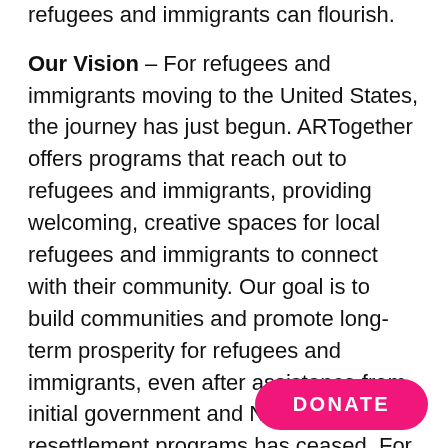refugees and immigrants can flourish.
Our Vision – For refugees and immigrants moving to the United States, the journey has just begun. ARTogether offers programs that reach out to refugees and immigrants, providing welcoming, creative spaces for local refugees and immigrants to connect with their community. Our goal is to build communities and promote long-term prosperity for refugees and immigrants, even after assistance from initial government and NGO resettlement programs has ceased. For these programs, art is our social glue, its universality binding us all together.
Art plays a special role in the refu... invites conversation, laughter, storytelling and...
[Figure (other): Pink rounded rectangle DONATE button overlaid on bottom-right of the page]